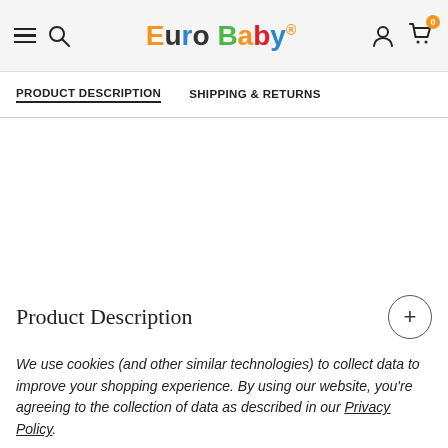Euro Baby
PRODUCT DESCRIPTION   SHIPPING & RETURNS
Product Description
We use cookies (and other similar technologies) to collect data to improve your shopping experience. By using our website, you're agreeing to the collection of data as described in our Privacy Policy.
Settings | Reject all | Accept All Cookies